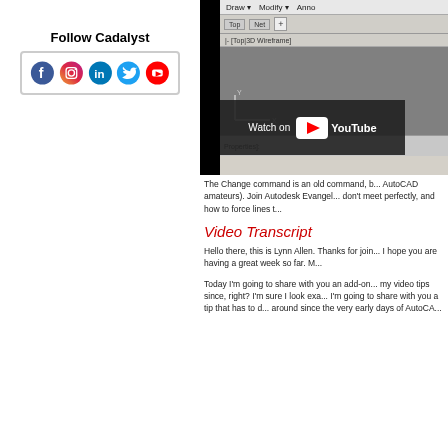[Figure (logo): Follow Cadalyst social media icons: Facebook, Instagram, LinkedIn, Twitter, YouTube]
[Figure (screenshot): AutoCAD 3D Wireframe interface screenshot with YouTube 'Watch on YouTube' overlay]
The Change command is an old command, b... AutoCAD amateurs). Join Autodesk Evangel... don't meet perfectly, and how to force lines t...
Video Transcript
Hello there, this is Lynn Allen. Thanks for join... I hope you are having a great week so far. M...
Today I'm going to share with you an add-on... my video tips since, right? I'm sure I look exa... I'm going to share with you a tip that has to d... around since the very early days of AutoCA...